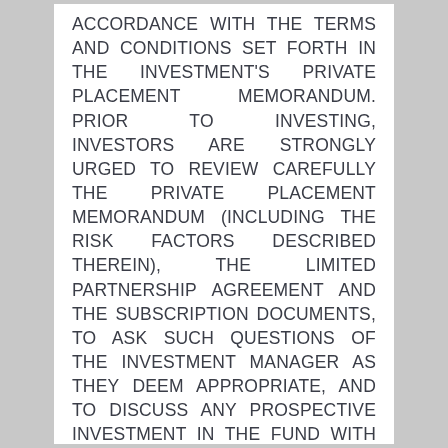ACCORDANCE WITH THE TERMS AND CONDITIONS SET FORTH IN THE INVESTMENT'S PRIVATE PLACEMENT MEMORANDUM. PRIOR TO INVESTING, INVESTORS ARE STRONGLY URGED TO REVIEW CAREFULLY THE PRIVATE PLACEMENT MEMORANDUM (INCLUDING THE RISK FACTORS DESCRIBED THEREIN), THE LIMITED PARTNERSHIP AGREEMENT AND THE SUBSCRIPTION DOCUMENTS, TO ASK SUCH QUESTIONS OF THE INVESTMENT MANAGER AS THEY DEEM APPROPRIATE, AND TO DISCUSS ANY PROSPECTIVE INVESTMENT IN THE FUND WITH THEIR LEGAL AND TAX ADVISERS IN ORDER TO MAKE AN INDEPENDENT DETERMINATION OF THE SUITABILITY AND CONSEQUENCES OF AN INVESTMENT...